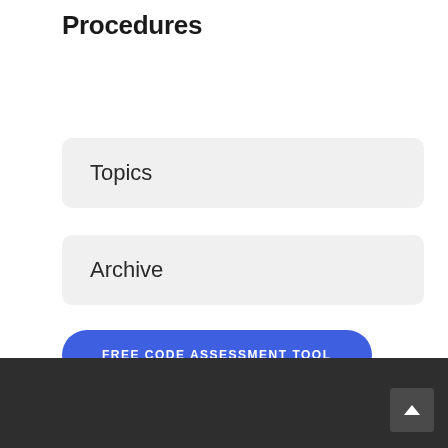Procedures
Topics
Archive
FREE CODE ASSESSMENT TOOL